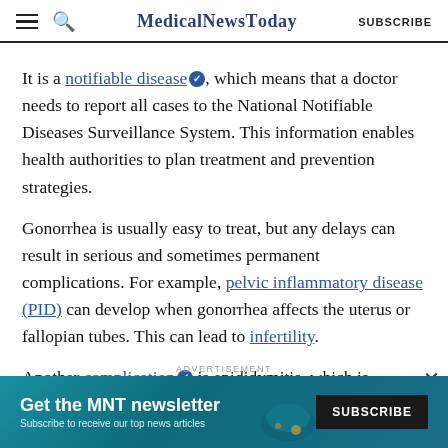MedicalNewsToday | SUBSCRIBE
It is a notifiable disease, which means that a doctor needs to report all cases to the National Notifiable Diseases Surveillance System. This information enables health authorities to plan treatment and prevention strategies.
Gonorrhea is usually easy to treat, but any delays can result in serious and sometimes permanent complications. For example, pelvic inflammatory disease (PID) can develop when gonorrhea affects the uterus or fallopian tubes. This can lead to infertility.
Another complication is epididymitis, which is
[Figure (screenshot): Advertisement banner: Get the MNT newsletter. Subscribe to receive our top news articles. SUBSCRIBE button.]